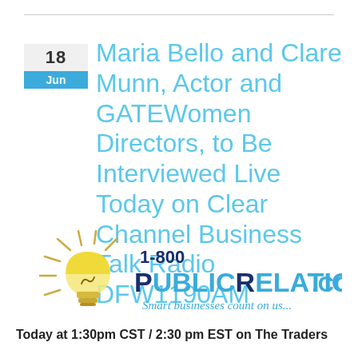18 Jun — Maria Bello and Clare Munn, Actor and GATEWomen Directors, to Be Interviewed Live Today on Clear Channel Business Talk Radio DFW1190AM
[Figure (logo): 1-800-PublicRelations.com logo with lightbulb icon and tagline 'Smart businesses count on us...']
Today at 1:30pm CST / 2:30 pm EST on The Traders